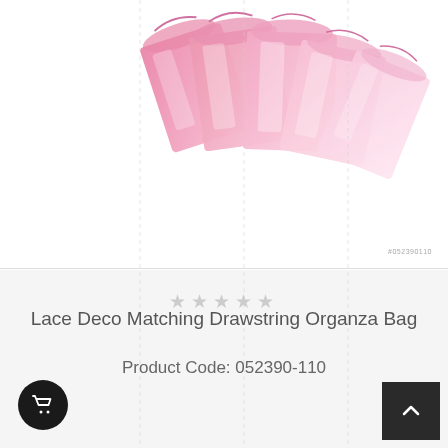[Figure (photo): Pink organza drawstring bags arranged in a fanned/overlapping display against a white background. The bags are sheer, light pink fabric with drawstring closures at the top.]
#052390110
★★★★★ (star rating, empty/unfilled stars)
Lace Deco Matching Drawstring Organza Bag
Product Code: 052390-110